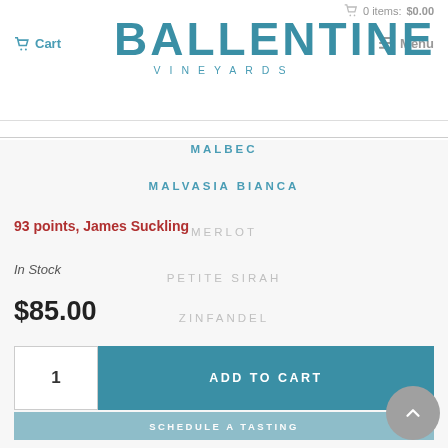0 items: $0.00
Cart
BALLENTINE
VINEYARDS
Menu
MALBEC
MALVASIA BIANCA
93 points, James Suckling
MERLOT
In Stock
PETITE SIRAH
$85.00
ZINFANDEL
1
ADD TO CART
SCHEDULE A TASTING